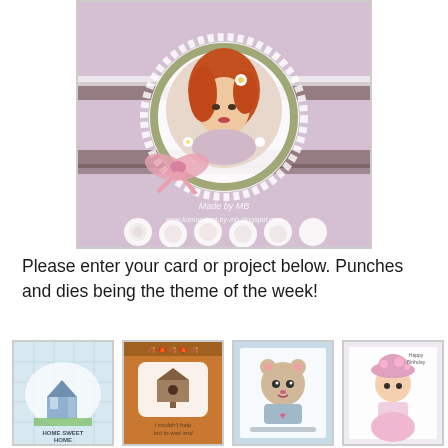[Figure (photo): A handmade greeting card featuring a portrait of a red-haired woman in a circular cameo frame, surrounded by floral decorations, lace, pink ribbon bow, and white roses along the bottom. Text reads 'Made by MB' and 'www.komon-kart-by-mb.blogspot.com']
Please enter your card or project below. Punches and dies being the theme of the week!
[Figure (photo): Thumbnail 1: A card with a blue house illustration and text 'Home Sweet Home']
[Figure (photo): Thumbnail 2: A brown autumn-themed card with a birdhouse and script text]
[Figure (photo): Thumbnail 3: A light blue card with a cute animal character and text]
[Figure (photo): Thumbnail 4: A card featuring a doll-like character with a pink hat]